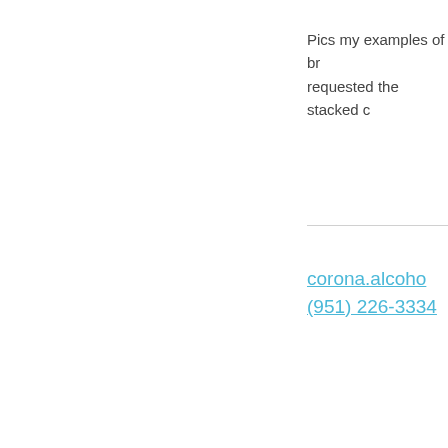Pics my examples of br requested the stacked c
corona.alcoho (951) 226-3334
Are you (or someone yo Rehabilitation Clinic he
clubglobals.co
Club GLOBALS helps r recommended service p